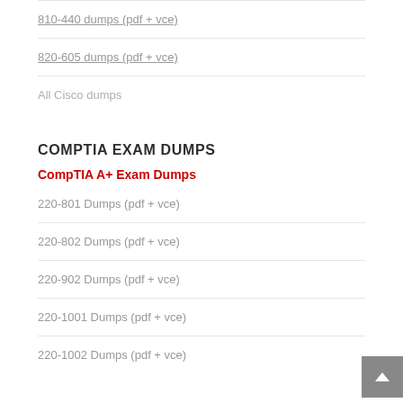810-440 dumps (pdf + vce)
820-605 dumps (pdf + vce)
All Cisco dumps
COMPTIA EXAM DUMPS
CompTIA A+ Exam Dumps
220-801 Dumps (pdf + vce)
220-802 Dumps (pdf + vce)
220-902 Dumps (pdf + vce)
220-1001 Dumps (pdf + vce)
220-1002 Dumps (pdf + vce)